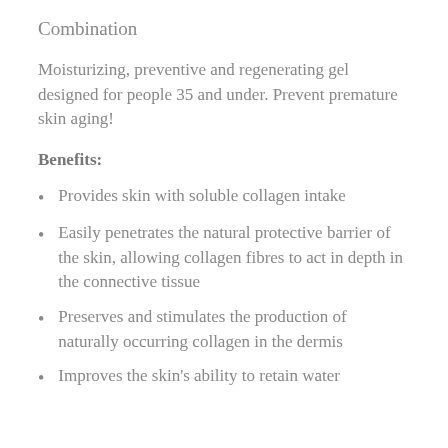Combination
Moisturizing, preventive and regenerating gel designed for people 35 and under. Prevent premature skin aging!
Benefits:
Provides skin with soluble collagen intake
Easily penetrates the natural protective barrier of the skin, allowing collagen fibres to act in depth in the connective tissue
Preserves and stimulates the production of naturally occurring collagen in the dermis
Improves the skin's ability to retain water